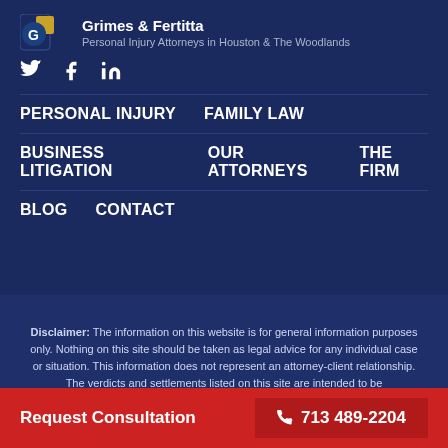[Figure (logo): Grimes & Fertitta logo with blue and gold icon and firm name text]
Grimes & Fertitta
Personal Injury Attorneys in Houston & The Woodlands
[Figure (illustration): Social media icons: Twitter bird, Facebook f, LinkedIn in]
PERSONAL INJURY   FAMILY LAW
BUSINESS LITIGATION   OUR ATTORNEYS   THE FIRM
BLOG   CONTACT
Disclaimer: The information on this website is for general information purposes only. Nothing on this site should be taken as legal advice for any individual case or situation. This information does not represent an attorney-client relationship. The verdicts and settlements listed on this site are intended to be representative of cases handled by Grimes & Fertitta. These listings are not a guarantee or prediction of any outcome.
© 2020 Grimes & Fertitta. All rights reserved.
Request Consultation   713 489-2204